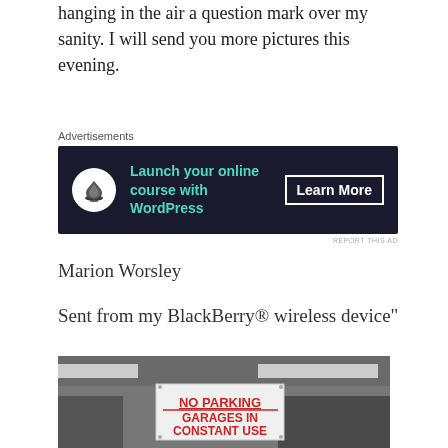hanging in the air a question mark over my sanity. I will send you more pictures this evening.
[Figure (infographic): Advertisement banner for launching an online course with WordPress. Dark navy background with a bonsai tree icon, teal text 'Launch your online course with WordPress' and a white 'Learn More' button.]
Advertisements
REPORT THIS AD
Marion Worsley
Sent from my BlackBerry® wireless device"
[Figure (photo): Black and white photograph of a garage entrance with a white sign reading 'NO PARKING GARAGES IN CONSTANT USE' in red text.]